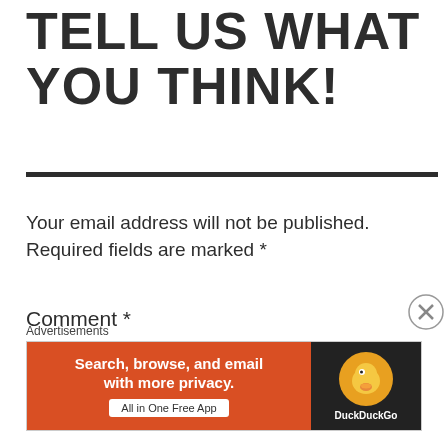TELL US WHAT YOU THINK!
Your email address will not be published. Required fields are marked *
Comment *
[Figure (screenshot): Empty comment text area input box]
[Figure (screenshot): DuckDuckGo advertisement banner: Search, browse, and email with more privacy. All in One Free App]
Advertisements